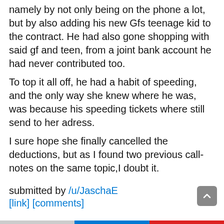namely by not only being on the phone a lot, but by also adding his new Gfs teenage kid to the contract. He had also gone shopping with said gf and teen, from a joint bank account he had never contributed too.
To top it all off, he had a habit of speeding, and the only way she knew where he was, was because his speeding tickets where still send to her adress.
I sure hope she finally cancelled the deductions, but as I found two previous call-notes on the same topic,I doubt it.
submitted by /u/JaschaE
[link] [comments]